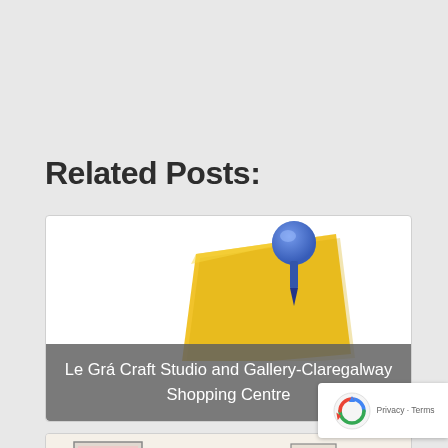Related Posts:
[Figure (illustration): A sticky note with a blue pushpin on top, with a rounded grey overlay label reading 'Le Grá Craft Studio and Gallery-Claregalway Shopping Centre']
Le Grá Craft Studio and Gallery-Claregalway Shopping Centre
[Figure (photo): A room interior with framed pictures on the wall including Eiffel Tower prints, a small plant on a table, and colorful objects]
[Figure (logo): Google reCAPTCHA badge with spinning arrows icon and Privacy - Terms text]